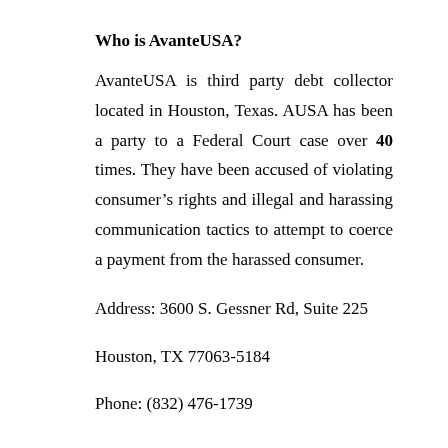Who is AvanteUSA?
AvanteUSA is third party debt collector located in Houston, Texas. AUSA has been a party to a Federal Court case over 40 times. They have been accused of violating consumer’s rights and illegal and harassing communication tactics to attempt to coerce a payment from the harassed consumer.
Address: 3600 S. Gessner Rd, Suite 225
Houston, TX 77063-5184
Phone: (832) 476-1739